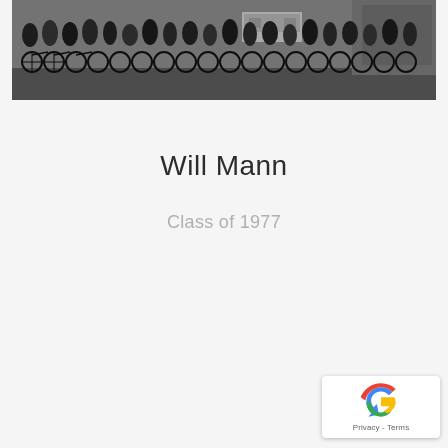[Figure (photo): Black and white photograph of a large group of people standing with bicycles lined up in front of a brick building. Appears to be a cycling club or school group photo.]
Will Mann
Class of 1977